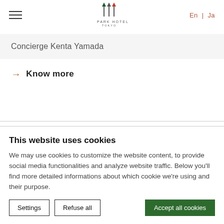Park Hotel Tokyo | En | Ja
Concierge Kenta Yamada
→ Know more
This website uses cookies
We may use cookies to customize the website content, to provide social media functionalities and analyze website traffic. Below you'll find more detailed informations about which cookie we're using and their purpose.
Settings | Refuse all | Accept all cookies